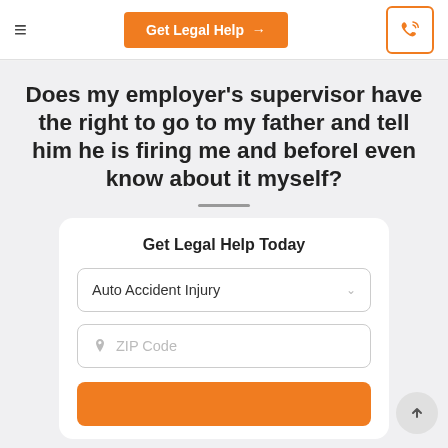≡  Get Legal Help →  [phone icon]
Does my employer's supervisor have the right to go to my father and tell him he is firing me and beforeI even know about it myself?
Get Legal Help Today
Auto Accident Injury
ZIP Code